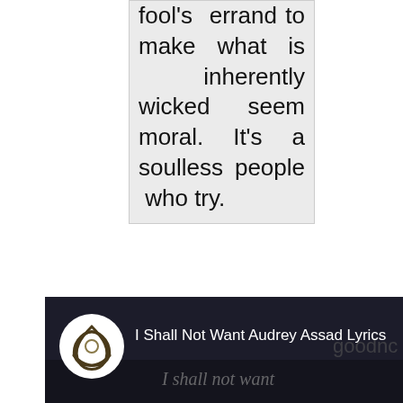fool's errand to make what is inherently wicked seem moral. It's a soulless people who try.
Abortion Supporters Wish Rape On Pro-Lifers, Cut Out Beating Hearts, Practice On Papayas
[Figure (screenshot): Video thumbnail showing 'I Shall Not Want Audrey Assad Lyrics' with a triquetra/trinity knot logo in a circle on a dark background with text 'I shall not want' overlaid]